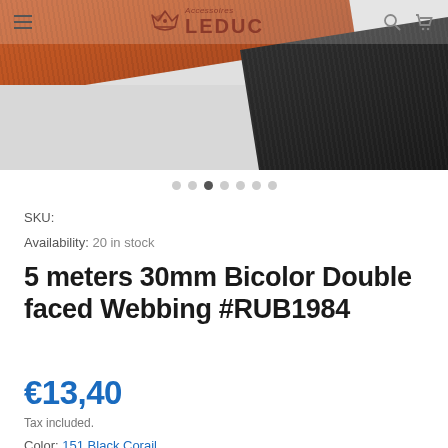[Figure (photo): Close-up of bicolor double-faced webbing straps — one orange/rust colored and one black, overlapping diagonally against a light background. Accessoires Leduc logo visible in the navigation bar above.]
SKU:
Availability: 20 in stock
5 meters 30mm Bicolor Double faced Webbing #RUB1984
€13,40
Tax included.
Color: 151 Black Corail